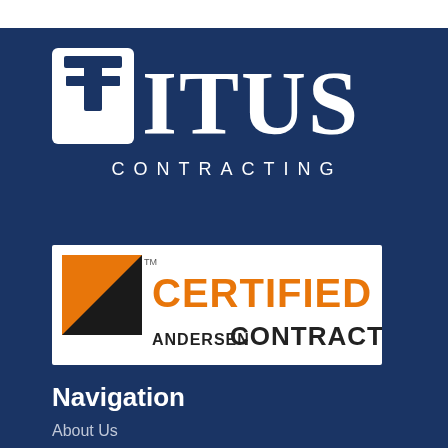[Figure (logo): Titus Contracting logo: white rounded square with a cross/T icon in dark blue, followed by 'TITUS' in large white serif font and 'CONTRACTING' in white spaced sans-serif below]
[Figure (logo): Andersen Certified Contractor badge: white rectangle with orange triangle/arrow icon, 'CERTIFIED' in orange text, 'ANDERSEN' and 'CONTRACTOR' in dark text]
Navigation
About Us